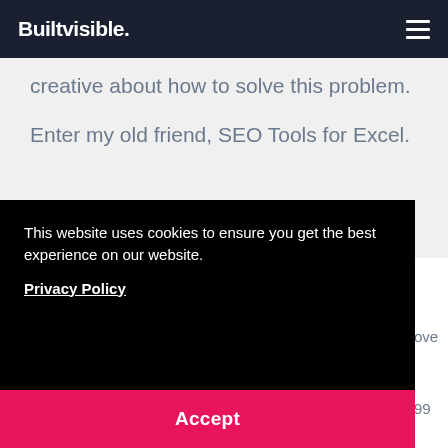Builtvisible.
creative about how to solve this problem.
Enter my old friend, SEO Tools for Excel.
SEO Tools for Excel
This website uses cookies to ensure you get the best experience on our website.
Privacy Policy
Accept